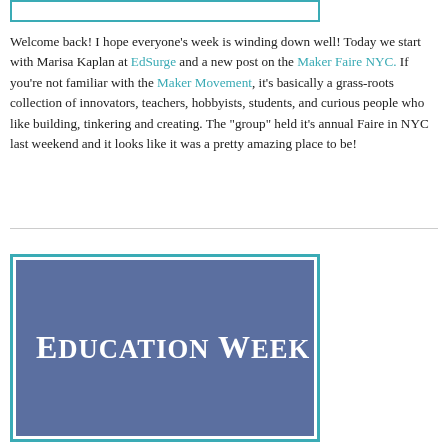[Figure (screenshot): Top portion of a framed image strip with teal border, partially visible at the top of the page]
Welcome back!  I hope everyone's week is winding down well!  Today we start with Marisa Kaplan at EdSurge and a new post on the Maker Faire NYC.  If you're not familiar with the Maker Movement, it's basically a grass-roots collection of innovators, teachers, hobbyists, students, and curious people who like building, tinkering and creating.  The "group" held it's annual Faire in NYC last weekend and it looks like it was a pretty amazing place to be!
[Figure (logo): Education Week logo: white serif text 'EDUCATION WEEK' in small-caps on a blue-purple rectangular background with teal border]